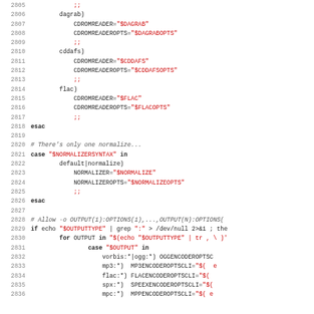Source code listing lines 2805-2836, shell script with case statements for CDROM reader configuration and normalizer/output type handling.